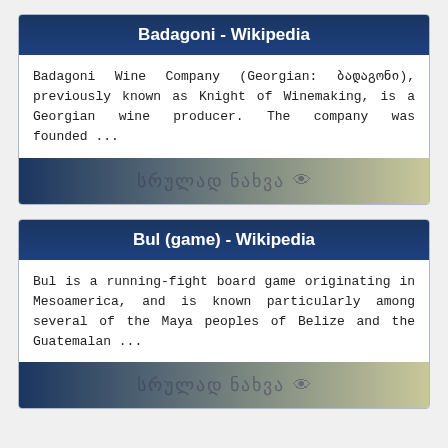Badagoni - Wikipedia
Badagoni Wine Company (Georgian: ბადაგონი), previously known as Knight of Winemaking, is a Georgian wine producer. The company was founded ...
[Figure (screenshot): Button with Georgian text 'სრულად ნახვა' and an eye icon, on a gradient background from dark blue to olive/tan.]
Bul (game) - Wikipedia
Bul is a running-fight board game originating in Mesoamerica, and is known particularly among several of the Maya peoples of Belize and the Guatemalan ...
[Figure (screenshot): Button with Georgian text 'სრულად ნახვა' and an eye icon, on a gradient background from dark blue to olive/tan.]